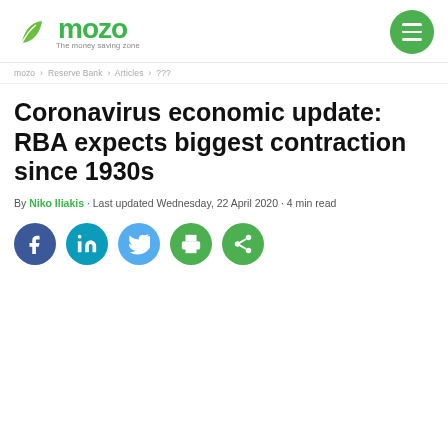Mozo – The money saving zone
mozo > Reserve Bank > Articles > ???
Coronavirus economic update: RBA expects biggest contraction since 1930s
By Niko Iliakis · Last updated Wednesday, 22 April 2020 · 4 min read
[Figure (other): Social sharing buttons: Facebook, LinkedIn, Twitter, Print, Share]